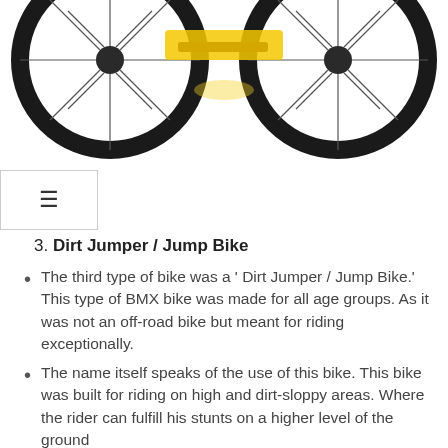[Figure (photo): Partial view of a BMX/dirt jumper bicycle showing two wheels with spokes and a yellow frame, photographed from the front/side on a white background. Only the lower portion of the bike is visible.]
3. Dirt Jumper / Jump Bike
The third type of bike was a ' Dirt Jumper / Jump Bike.' This type of BMX bike was made for all age groups. As it was not an off-road bike but meant for riding exceptionally.
The name itself speaks of the use of this bike. This bike was built for riding on high and dirt-sloppy areas. Where the rider can fulfill his stunts on a higher level of the ground
The tracks were made with a slope like a ridge where the rider can take his stunts high. This type of bike…